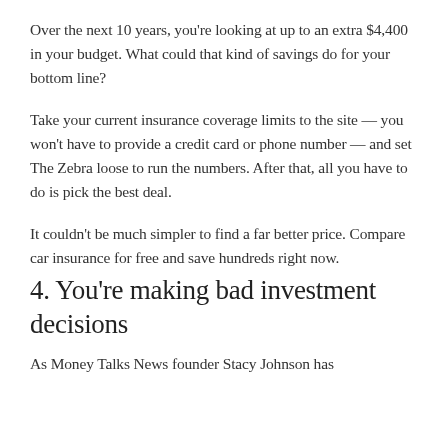Over the next 10 years, you're looking at up to an extra $4,400 in your budget. What could that kind of savings do for your bottom line?
Take your current insurance coverage limits to the site — you won't have to provide a credit card or phone number — and set The Zebra loose to run the numbers. After that, all you have to do is pick the best deal.
It couldn't be much simpler to find a far better price. Compare car insurance for free and save hundreds right now.
4. You're making bad investment decisions
As Money Talks News founder Stacy Johnson has